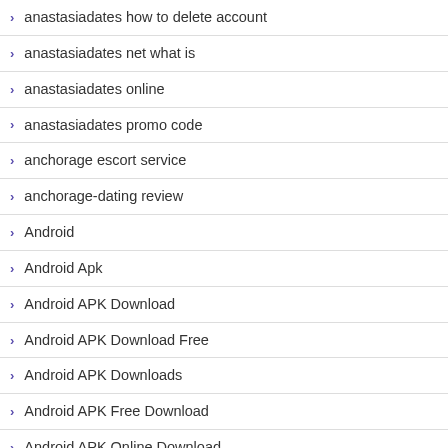anastasiadates how to delete account
anastasiadates net what is
anastasiadates online
anastasiadates promo code
anchorage escort service
anchorage-dating review
Android
Android Apk
Android APK Download
Android APK Download Free
Android APK Downloads
Android APK Free Download
Android APK Online Download
Android Apks